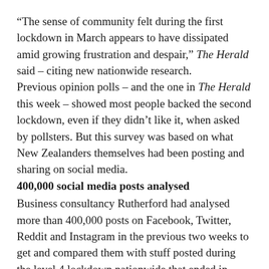“The sense of community felt during the first lockdown in March appears to have dissipated amid growing frustration and despair,” The Herald said – citing new nationwide research.
Previous opinion polls – and the one in The Herald this week – showed most people backed the second lockdown, even if they didn’t like it, when asked by pollsters. But this survey was based on what New Zealanders themselves had been posting and sharing on social media.
400,000 social media posts analysed
Business consultancy Rutherford had analysed more than 400,000 posts on Facebook, Twitter, Reddit and Instagram in the previous two weeks to get and compared them with stuff posted during the level 4 lockdown nationwide that ended in June.